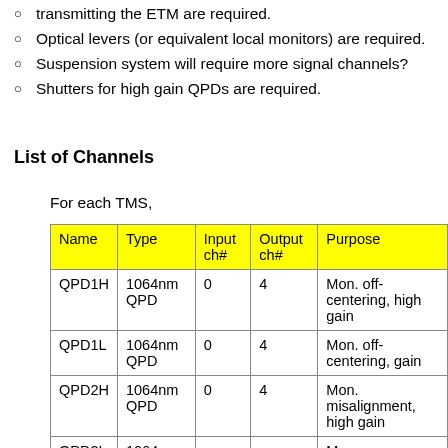transmitting the ETM are required.
Optical levers (or equivalent local monitors) are required.
Suspension system will require more signal channels?
Shutters for high gain QPDs are required.
List of Channels
For each TMS,
| Name | Type | Input ch# | Output ch# | Purpose |
| --- | --- | --- | --- | --- |
| QPD1H | 1064nm QPD | 0 | 4 | Mon. off-centering, high gain |
| QPD1L | 1064nm QPD | 0 | 4 | Mon. off-centering, gain |
| QPD2H | 1064nm QPD | 0 | 4 | Mon. misalignment, high gain |
| QPD2L | 1064nm |  |  | Mon. |